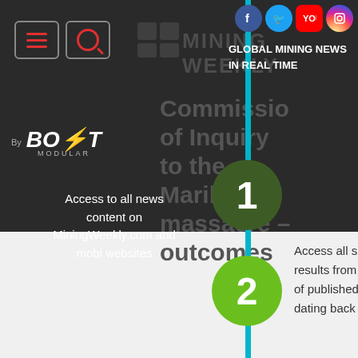[Figure (screenshot): Mining Weekly website screenshot showing navigation, Bolt Modular logo, headline about Commission of Inquiry outcomes, numbered steps with cyan vertical line and circles]
GLOBAL MINING NEWS IN REAL TIME
By
[Figure (logo): BOLT MODULAR logo in white and orange with lightning bolt]
Access to all news content on MiningWeekly.com and mobi websites
Commission of Inquiry into the Marikana massacre – outcomes
1
2
Access all s... results from a... of published... dating back...